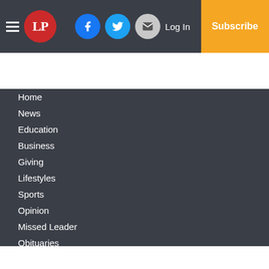LP — Navigation header with social icons, Log In, Subscribe
Home
News
Education
Business
Giving
Lifestyles
Sports
Opinion
Missed Leader
Obituaries
Classifieds
Small Business
Services
About Us